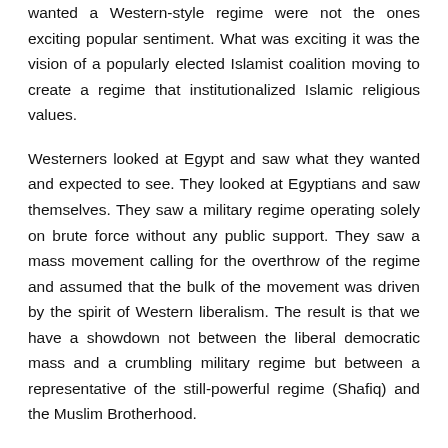wanted a Western-style regime were not the ones exciting popular sentiment. What was exciting it was the vision of a popularly elected Islamist coalition moving to create a regime that institutionalized Islamic religious values.
Westerners looked at Egypt and saw what they wanted and expected to see. They looked at Egyptians and saw themselves. They saw a military regime operating solely on brute force without any public support. They saw a mass movement calling for the overthrow of the regime and assumed that the bulk of the movement was driven by the spirit of Western liberalism. The result is that we have a showdown not between the liberal democratic mass and a crumbling military regime but between a representative of the still-powerful regime (Shafiq) and the Muslim Brotherhood.
If we understand how the Egyptian revolution was